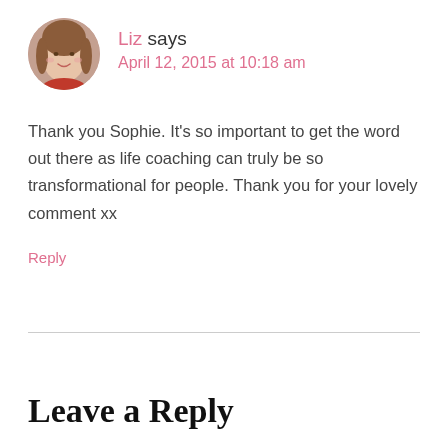[Figure (photo): Circular avatar photo of a woman with shoulder-length brown hair wearing a red top]
Liz says
April 12, 2015 at 10:18 am
Thank you Sophie. It’s so important to get the word out there as life coaching can truly be so transformational for people. Thank you for your lovely comment xx
Reply
Leave a Reply